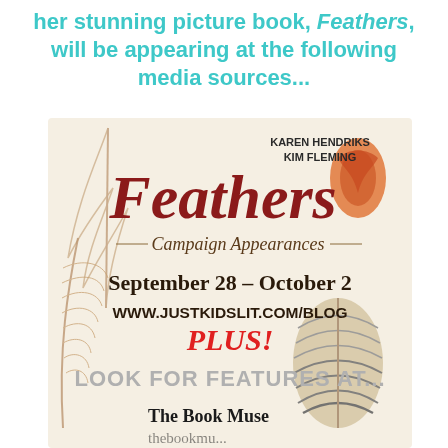her stunning picture book, Feathers, will be appearing at the following media sources...
[Figure (illustration): Feathers book Campaign Appearances promotional image showing feathers, authors Karen Hendriks and Kim Fleming, dates September 28 - October 2, www.justkidslit.com/blog, PLUS! Look for Features at... The Book Muse]